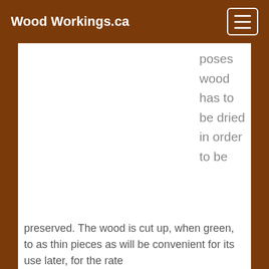Wood Workings.ca
poses wood has to be dried in order to be
preserved. The wood is cut up, when green, to as thin pieces as will be convenient for its use later, for the rate of drying depends largely on the thickness of